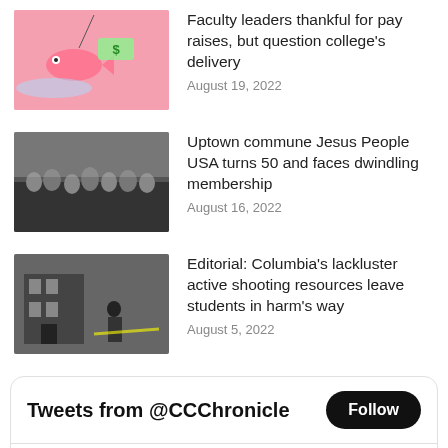[Figure (illustration): Pink background illustration with cartoon fish and dollar bill]
Faculty leaders thankful for pay raises, but question college's delivery
August 19, 2022
[Figure (photo): Black and white photo of a crowd of people]
Uptown commune Jesus People USA turns 50 and faces dwindling membership
August 16, 2022
[Figure (photo): Photo of a police officer near a building]
Editorial: Columbia's lackluster active shooting resources leave students in harm's way
August 5, 2022
Tweets from @CCChronicle
The Columbia C... @CCC... · Aug 22
Hurry! Astound Broadband powered by RCN has a limited time offer for college students! Click the link below to learn